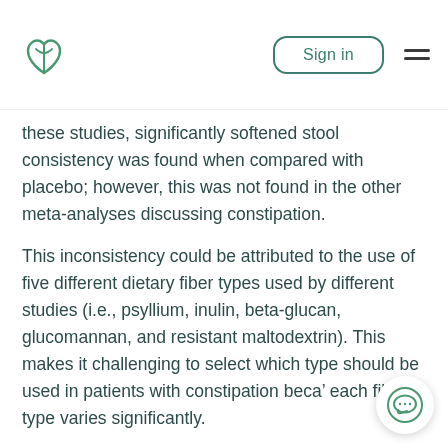Sign in
these studies, significantly softened stool consistency was found when compared with placebo; however, this was not found in the other meta-analyses discussing constipation.
This inconsistency could be attributed to the use of five different dietary fiber types used by different studies (i.e., psyllium, inulin, beta-glucan, glucomannan, and resistant maltodextrin). This makes it challenging to select which type should be used in patients with constipation because each fiber type varies significantly.
Inulin and beta-fructan significantly increased